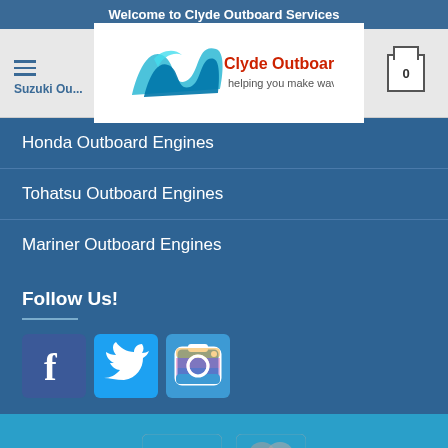Welcome to Clyde Outboard Services
[Figure (logo): Clyde Outboard Services logo with wave graphic and tagline 'helping you make waves']
Honda Outboard Engines
Tohatsu Outboard Engines
Mariner Outboard Engines
Follow Us!
[Figure (infographic): Social media icons: Facebook, Twitter, Instagram]
[Figure (infographic): Payment icons: VISA and MasterCard]
Copyright 2022 © Clyde Outboard Services Ltd